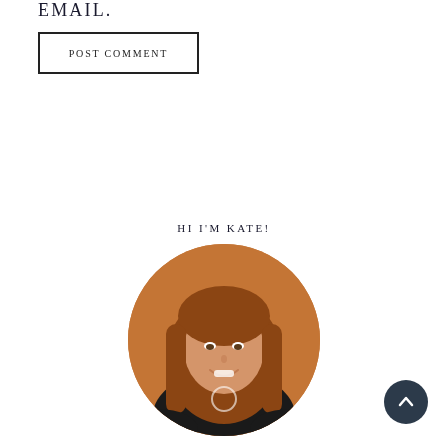EMAIL.
POST COMMENT
HI I'M KATE!
[Figure (photo): Circular cropped photo of a woman named Kate with long auburn hair, smiling, wearing a black top, standing in front of a brick wall with warm orange lighting.]
[Figure (other): Dark circular scroll-to-top button with an upward chevron arrow icon, positioned at bottom right.]